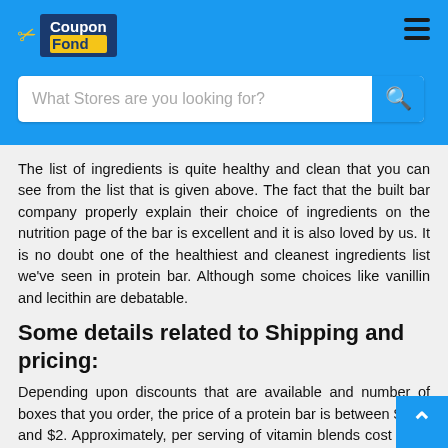CouponFond — What Stores are you looking for?
The list of ingredients is quite healthy and clean that you can see from the list that is given above. The fact that the built bar company properly explain their choice of ingredients on the nutrition page of the bar is excellent and it is also loved by us. It is no doubt one of the healthiest and cleanest ingredients list we've seen in protein bar. Although some choices like vanillin and lecithin are debatable.
Some details related to Shipping and pricing:
Depending upon discounts that are available and number of boxes that you order, the price of a protein bar is between $1.50 and $2. Approximately, per serving of vitamin blends cost up to $1 and $30 per pack. The cost of per pack also decreases with larger volume. No matter how many boxes you